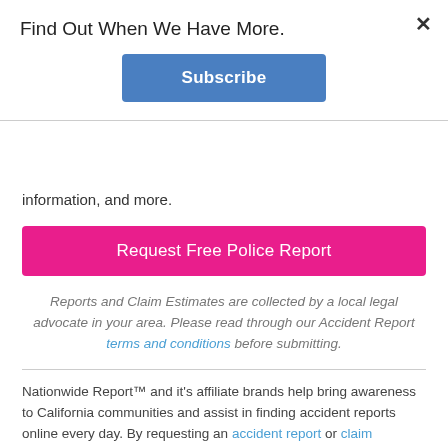Find Out When We Have More.
Subscribe
information, and more.
Request Free Police Report
Reports and Claim Estimates are collected by a local legal advocate in your area. Please read through our Accident Report terms and conditions before submitting.
Nationwide Report™ and it's affiliate brands help bring awareness to California communities and assist in finding accident reports online every day. By requesting an accident report or claim estimation, you'll have the option of speaking with a California accident attorney if you wish. For more information, visit our legal connection network; Valiant Advocates